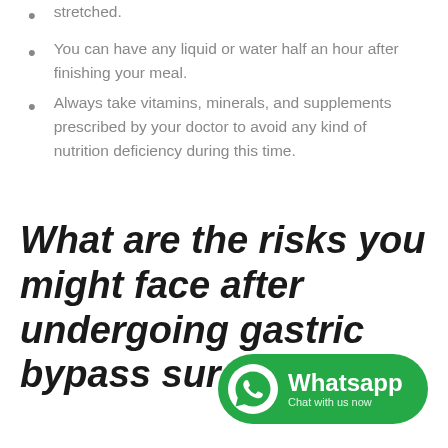stretched.
You can have any liquid or water half an hour after finishing your meal.
Always take vitamins, minerals, and supplements prescribed by your doctor to avoid any kind of nutrition deficiency during this time.
What are the risks you might face after undergoing gastric bypass surgery?
[Figure (logo): WhatsApp Chat with us now button/badge in green with WhatsApp icon]